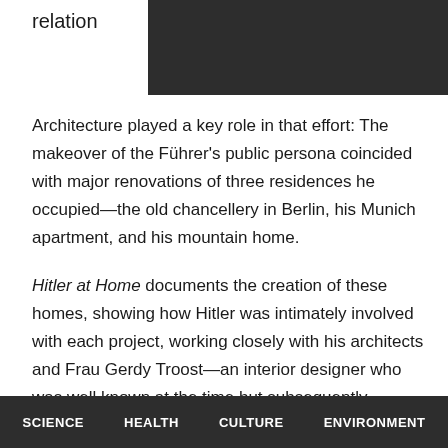relation
Architecture played a key role in that effort: The makeover of the Führer's public persona coincided with major renovations of three residences he occupied—the old chancellery in Berlin, his Munich apartment, and his mountain home.
Hitler at Home documents the creation of these homes, showing how Hitler was intimately involved with each project, working closely with his architects and Frau Gerdy Troost—an interior designer who was well known at the time but subsequently forgotten by historians.
The team used architecture as a tool for manipulation:
SCIENCE   HEALTH   CULTURE   ENVIRONMENT